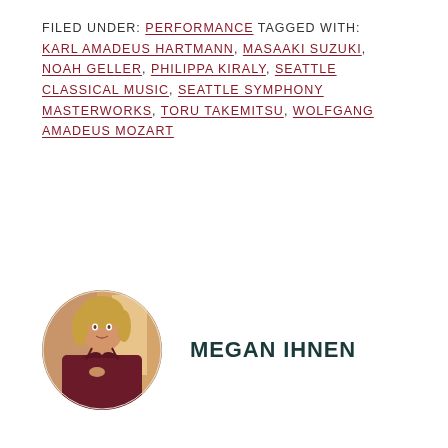FILED UNDER: PERFORMANCE TAGGED WITH: KARL AMADEUS HARTMANN, MASAAKI SUZUKI, NOAH GELLER, PHILIPPA KIRALY, SEATTLE CLASSICAL MUSIC, SEATTLE SYMPHONY MASTERWORKS, TORU TAKEMITSU, WOLFGANG AMADEUS MOZART
[Figure (photo): Circular portrait photo of Megan Ihnen, a woman with blonde hair wearing a dark red/maroon dress]
MEGAN IHNEN